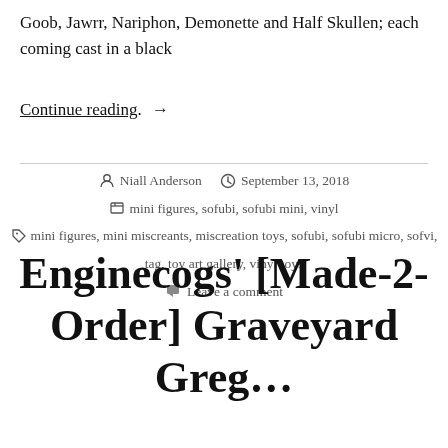Goob, Jawrr, Nariphon, Demonette and Half Skullen; each coming cast in a black
Continue reading. →
By Niall Anderson  September 13, 2018  mini figures, sofubi, sofubi mini, vinyl  mini figures, mini miscreants, miscreation toys, sofubi, sofubi micro, sofvi, tag, toy art gallery, vinyl toys  Leave a comment
Enginecogs' [Made-2-Order] Graveyard Greg…